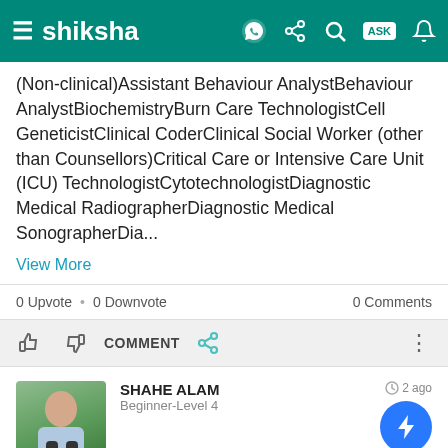shiksha
(Non-clinical)Assistant Behaviour AnalystBehaviour AnalystBiochemistryBurn Care TechnologistCell GeneticistClinical CoderClinical Social Worker (other than Counsellors)Critical Care or Intensive Care Unit (ICU) TechnologistCytotechnologistDiagnostic Medical RadiograpnerDiagnostic Medical SonographerDia...
View More
0 Upvote · 0 Downvote   0 Comments
COMMENT
SHAHE ALAM
Beginner-Level 4
As I think your utmost desire is to become a doctor, but anyhow if you are in a hurry and trying to do except MBBS then you can opt:
-BUMS